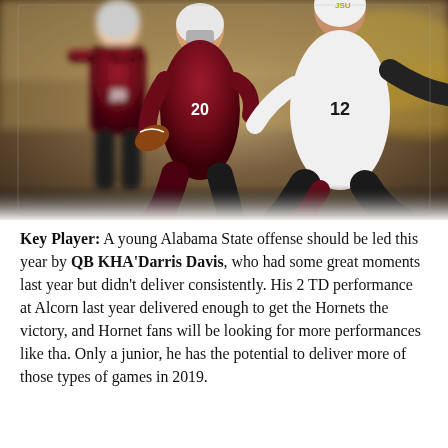[Figure (photo): Action photo of a college football game showing a player in a white jersey (number 12, with 'JSU' visible) running with the ball, being pursued by a player in a maroon jersey (number 20). Another maroon-uniformed player is visible in the background. The scene is set in a stadium with a blurred crowd.]
Key Player: A young Alabama State offense should be led this year by QB KHA'Darris Davis, who had some great moments last year but didn't deliver consistently. His 2 TD performance at Alcorn last year delivered enough to get the Hornets the victory, and Hornet fans will be looking for more performances like tha. Only a junior, he has the potential to deliver more of those types of games in 2019.